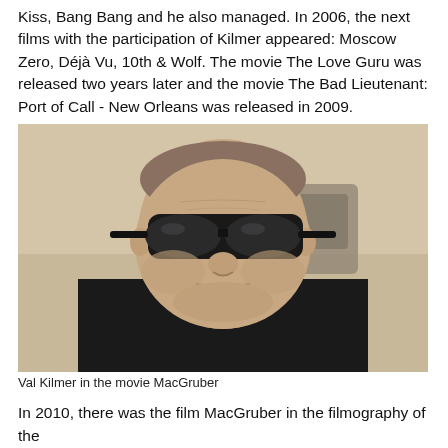Kiss, Bang Bang and he also managed. In 2006, the next films with the participation of Kilmer appeared: Moscow Zero, Déjà Vu, 10th & Wolf. The movie The Love Guru was released two years later and the movie The Bad Lieutenant: Port of Call - New Orleans was released in 2009.
[Figure (photo): Val Kilmer wearing dark sunglasses and a black jacket, seated in front of a vehicle in a desert-like setting, in the movie MacGruber]
Val Kilmer in the movie MacGruber
In 2010, there was the film MacGruber in the filmography of the